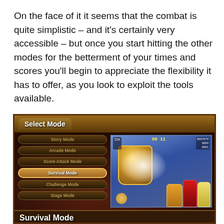On the face of it it seems that the combat is quite simplistic – and it's certainly very accessible – but once you start hitting the other modes for the betterment of your times and scores you'll begin to appreciate the flexibility it has to offer, as you look to exploit the tools available.
[Figure (screenshot): A video game screenshot showing a 'Select Mode' menu screen. Menu options listed: Story Mode, Arcade Mode, Score Attack Mode, Survival Mode (highlighted/selected), Challenge Mode, Stage Mode. A gameplay preview is shown on the right depicting a golden boss character with a white energy blast effect on a blue checkered floor, with character sprites including a girl in a cart, and anime-style characters in the corner. The bottom shows 'Survival Mode — Hold out against incoming waves of monsters.']